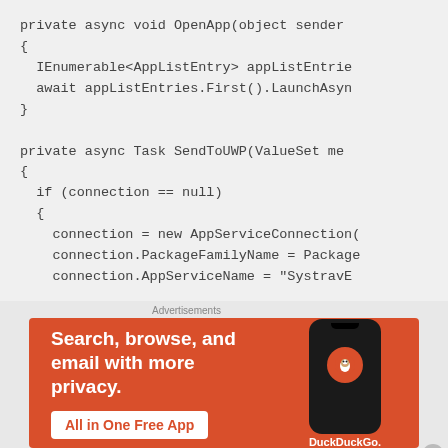private async void OpenApp(object sender
{
  IEnumerable<AppListEntry> appListEntrie
  await appListEntries.First().LaunchAsyn
}

private async Task SendToUWP(ValueSet me
{
  if (connection == null)
  {
    connection = new AppServiceConnection(
    connection.PackageFamilyName = Package
    connection.AppServiceName = "SystravE
[Figure (screenshot): DuckDuckGo advertisement banner: orange background with text 'Search, browse, and email with more privacy. All in One Free App' and a phone image showing DuckDuckGo logo]